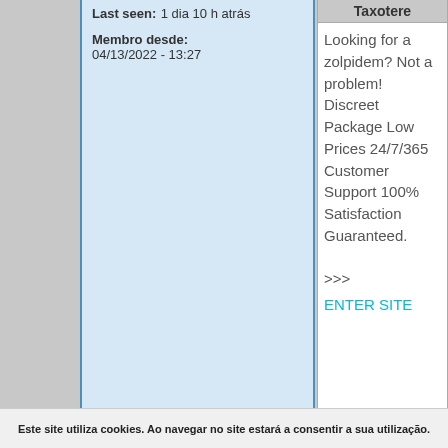Last seen: 1 dia 10 h atrás
Membro desde: 04/13/2022 - 13:27
Taxotere
Looking for a zolpidem? Not a problem! Discreet Package Low Prices 24/7/365 Customer Support 100% Satisfaction Guaranteed. >>> ENTER SITE
Este site utiliza cookies. Ao navegar no site estará a consentir a sua utilização.